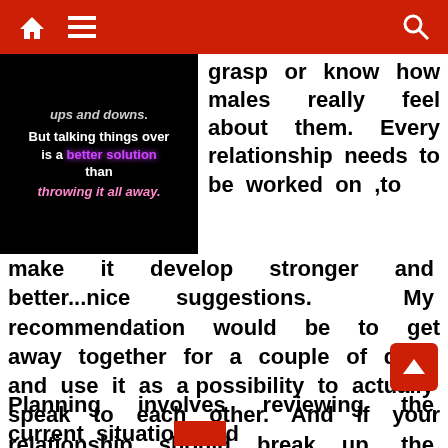Navigation bar with home, menu, and search icons
[Figure (illustration): Dark background image with neon text: 'ups and downs. But talking things over is a better solution than throwing it all away.']
grasp or know how males really feel about them. Every relationship needs to be worked on ,to make it develop stronger and better...nice suggestions. My recommendation would be to get away together for a couple of days and use it as a possibility to actually speak to each other. And if your relationship should break up, the very last thing you need to do is engage in recrimination and self blame.
Planning involves reviewing the current situation and